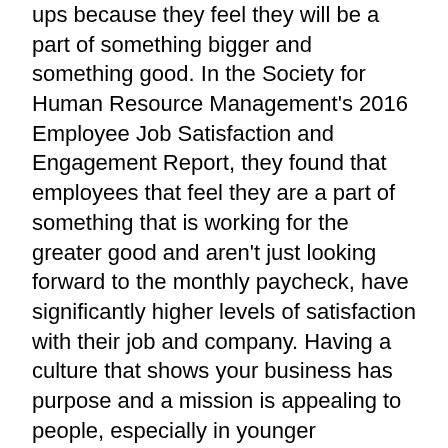ups because they feel they will be a part of something bigger and something good. In the Society for Human Resource Management's 2016 Employee Job Satisfaction and Engagement Report, they found that employees that feel they are a part of something that is working for the greater good and aren't just looking forward to the monthly paycheck, have significantly higher levels of satisfaction with their job and company. Having a culture that shows your business has purpose and a mission is appealing to people, especially in younger generations. As a start-up chances are you can't provide the hefty paychecks that many people desire, but you can offer something big to employees, you can offer a mission and purpose to their work and allow them to see a company grow before their eyes while they say they were a part of it. That right their is what will keep the talented